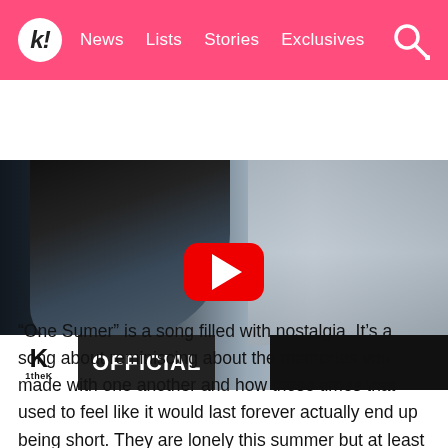k! News Lists Stories Exclusives
[Figure (screenshot): YouTube video thumbnail showing a young Asian man with dark hair, with a red YouTube play button overlay in the center, and '1theK OFFICIAL' branding in the lower left corner.]
“One Sumer” is a song filled with nostalgia. It’s a song about reminiscing about the memories you made with one another and how those times that used to feel like it would last forever actually end up being short. They are lonely this summer but at least they have the memories of their past love to be with them.